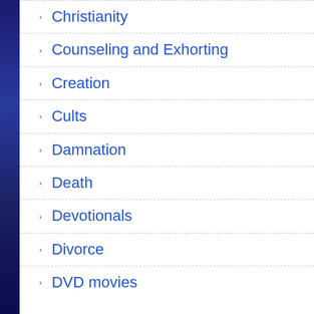Christianity
Counseling and Exhorting
Creation
Cults
Damnation
Death
Devotionals
Divorce
DVD movies